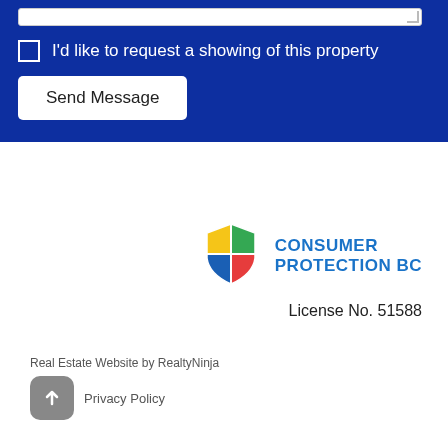[Figure (screenshot): Blue contact form section with textarea, checkbox 'I'd like to request a showing of this property', and Send Message button]
I'd like to request a showing of this property
Send Message
[Figure (logo): Consumer Protection BC shield logo with four colored quadrants: yellow, green, blue, red]
CONSUMER PROTECTION BC
License No. 51588
Real Estate Website by RealtyNinja
Privacy Policy